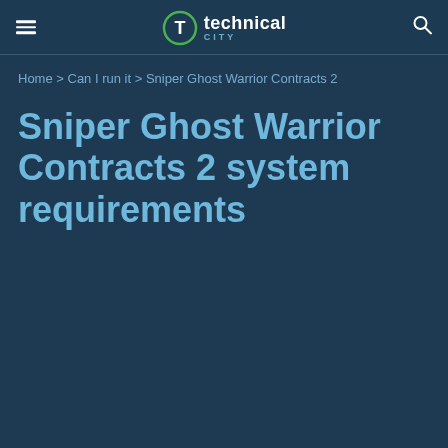technical city
Home > Can I run it > Sniper Ghost Warrior Contracts 2
Sniper Ghost Warrior Contracts 2 system requirements